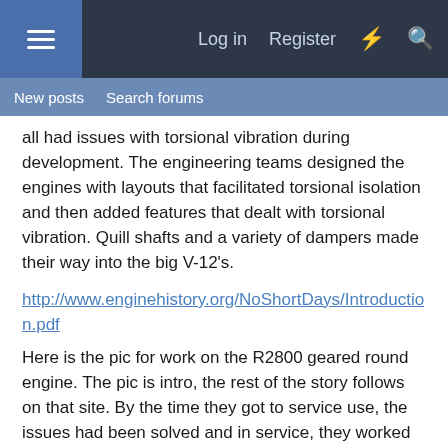Log in   Register
New posts   Search forums
all had issues with torsional vibration during development. The engineering teams designed the engines with layouts that facilitated torsional isolation and then added features that dealt with torsional vibration. Quill shafts and a variety of dampers made their way into the big V-12's.
http://www.enginehistory.org/NoShortDays/Introduction.pdf
Here is the pic for work on the R2800 geared round engine. The pic is intro, the rest of the story follows on that site. By the time they got to service use, the issues had been solved and in service, they worked fine. Crankshaft mounted torsional pendulums (order absorbers) are commonplace in 6 cylinder